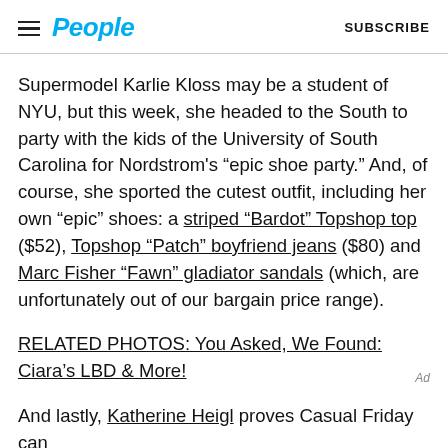People | SUBSCRIBE
Supermodel Karlie Kloss may be a student of NYU, but this week, she headed to the South to party with the kids of the University of South Carolina for Nordstrom's “epic shoe party.” And, of course, she sported the cutest outfit, including her own “epic” shoes: a striped “Bardot” Topshop top ($52), Topshop “Patch” boyfriend jeans ($80) and Marc Fisher “Fawn” gladiator sandals (which, are unfortunately out of our bargain price range).
RELATED PHOTOS: You Asked, We Found: Ciara’s LBD & More!
And lastly, Katherine Heigl proves Casual Friday can